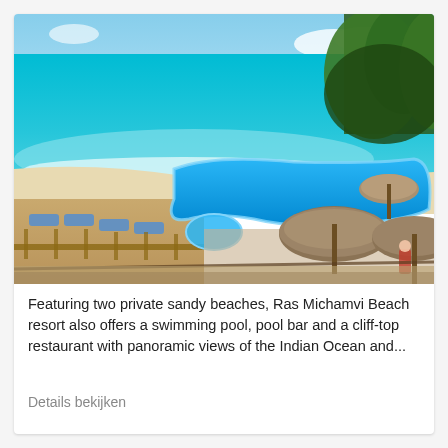[Figure (photo): Aerial view of Ras Michamvi Beach resort showing a large blue swimming pool surrounded by thatched-roof palapas, white sandy beach, turquoise Indian Ocean water, and lush green trees on a cliff.]
Featuring two private sandy beaches, Ras Michamvi Beach resort also offers a swimming pool, pool bar and a cliff-top restaurant with panoramic views of the Indian Ocean and...
Details bekijken